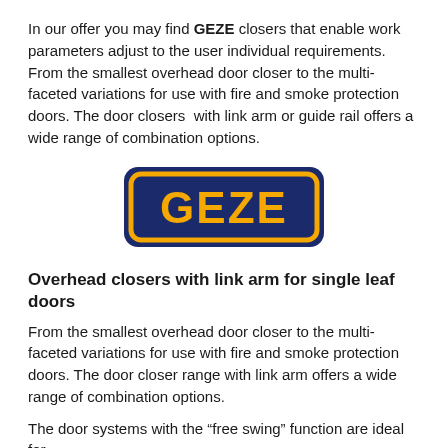In our offer you may find GEZE closers that enable work parameters adjust to the user individual requirements. From the smallest overhead door closer to the multi-faceted variations for use with fire and smoke protection doors. The door closers with link arm or guide rail offers a wide range of combination options.
[Figure (logo): GEZE logo — gold/yellow text 'GEZE' on a dark navy blue rounded rectangle background with a gold border]
Overhead closers with link arm for single leaf doors
From the smallest overhead door closer to the multi-faceted variations for use with fire and smoke protection doors. The door closer range with link arm offers a wide range of combination options.
The door systems with the “free swing” function are ideal for